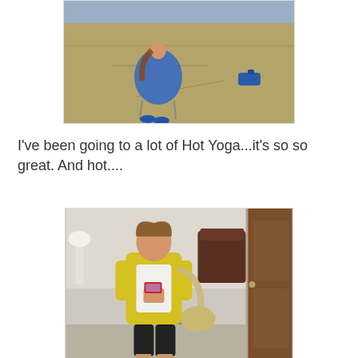[Figure (photo): A person wrapped in a blue blanket/covering sitting in a chair on a dry grass field outdoors, with a blue object visible in the background to the right.]
I've been going to a lot of Hot Yoga...it's so so great. And hot....
[Figure (photo): A woman in a yellow hoodie, white top, black capri leggings, and a tan shoulder bag taking a mirror selfie with a red phone in what appears to be a bedroom. A wooden door is visible on the right side.]